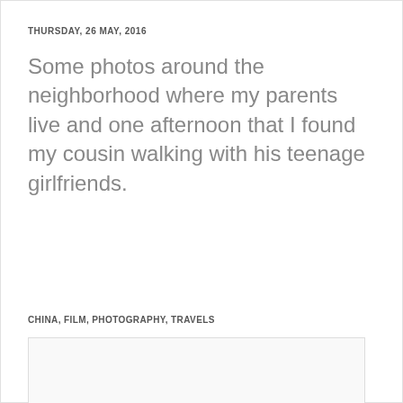THURSDAY, 26 MAY, 2016
Some photos around the neighborhood where my parents live and one afternoon that I found my cousin walking with his teenage girlfriends.
CHINA, FILM, PHOTOGRAPHY, TRAVELS
[Figure (photo): A photograph placeholder box with light border, content not visible]